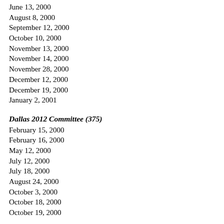June 13, 2000
August 8, 2000
September 12, 2000
October 10, 2000
November 13, 2000
November 14, 2000
November 28, 2000
December 12, 2000
December 19, 2000
January 2, 2001
Dallas 2012 Committee (375)
February 15, 2000
February 16, 2000
May 12, 2000
July 12, 2000
July 18, 2000
August 24, 2000
October 3, 2000
October 18, 2000
October 19, 2000
Dallas Area NorthStar Authority (521)
January 12, 2000
February 9, 2000
March 8, 2000